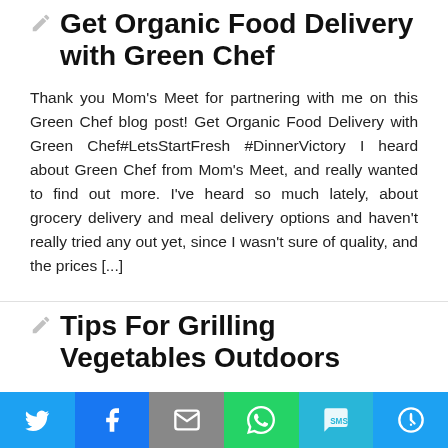Get Organic Food Delivery with Green Chef
Thank you Mom's Meet for partnering with me on this Green Chef blog post! Get Organic Food Delivery with Green Chef#LetsStartFresh #DinnerVictory I heard about Green Chef from Mom's Meet, and really wanted to find out more. I've heard so much lately, about grocery delivery and meal delivery options and haven't really tried any out yet, since I wasn't sure of quality, and the prices [...]
Tips For Grilling Vegetables Outdoors
*I was financially compensated for this post. The opinions are completely my own based on my experience.* Grilling Vegetables